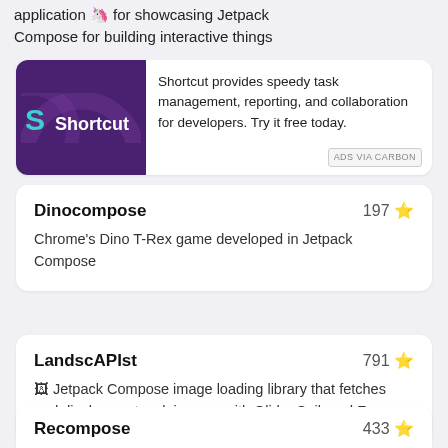application 🦄 for showcasing Jetpack Compose for building interactive things
[Figure (logo): Shortcut logo on purple background]
Shortcut provides speedy task management, reporting, and collaboration for developers. Try it free today.
ADS VIA CARBON
Dinocompose  197 ⭐
Chrome's Dino T-Rex game developed in Jetpack Compose
LandscAPIst  791 ⭐
🖼 Jetpack Compose image loading library that fetches and displays network images with Glide, Coil, and Fresco
Recompose  433 ⭐